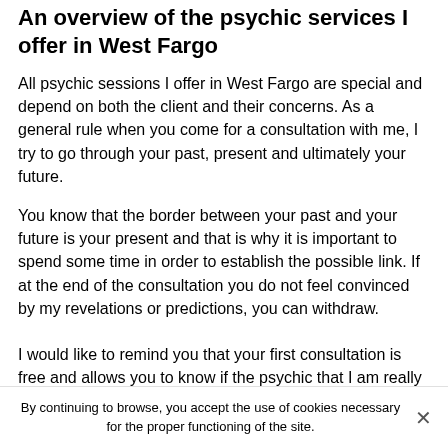An overview of the psychic services I offer in West Fargo
All psychic sessions I offer in West Fargo are special and depend on both the client and their concerns. As a general rule when you come for a consultation with me, I try to go through your past, present and ultimately your future.
You know that the border between your past and your future is your present and that is why it is important to spend some time in order to establish the possible link. If at the end of the consultation you do not feel convinced by my revelations or predictions, you can withdraw.
I would like to remind you that your first consultation is free and allows you to know if the psychic that I am really has gifts.
Reliability and clarity are the core foundations of
By continuing to browse, you accept the use of cookies necessary for the proper functioning of the site.